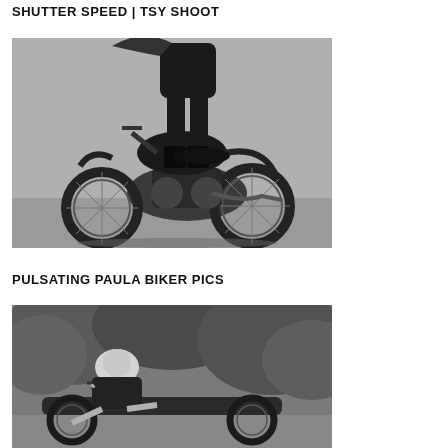SHUTTER SPEED | TSY SHOOT
[Figure (photo): Black and white photo of a person standing on a vintage BMW motorcycle on a street, viewed from behind and side, wearing dark clothing and boots.]
PULSATING PAULA BIKER PICS
[Figure (photo): Black and white photo of a blonde woman in a short dress reclining on a motorcycle parked among trees outdoors.]